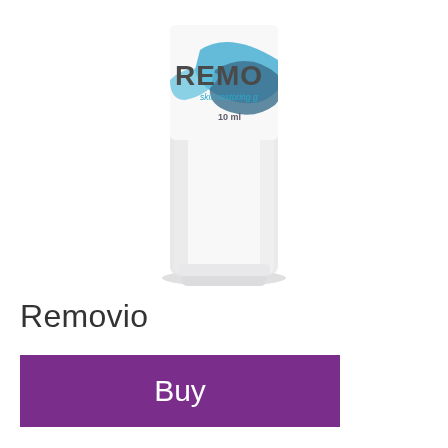[Figure (photo): A white squeeze tube of Removio skin restoring gel, 10 ml, with blue and teal wave design on the label. The tube is shown vertically with cap at bottom.]
Removio
Buy